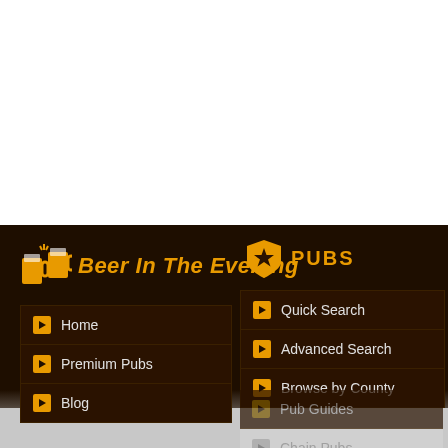[Figure (screenshot): Website screenshot of Beer In The Evening pub finder. Dark brown navigation bar with logo, left menu (Home, Premium Pubs, Blog) and right PUBS section menu (Quick Search, Advanced Search, Browse by County, Pub Guides, Chain Pubs).]
Beer In The Evening
PUBS
Home
Premium Pubs
Blog
Quick Search
Advanced Search
Browse by County
Pub Guides
Chain Pubs